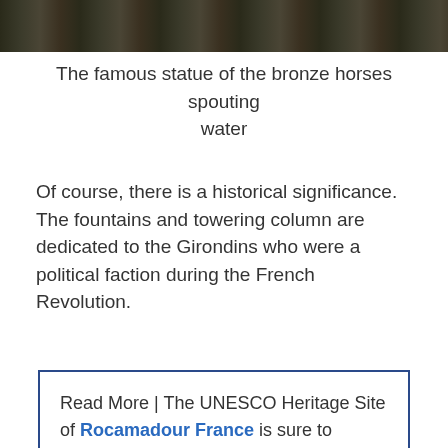[Figure (photo): Top strip showing bronze horse statues spouting water, partially cropped]
The famous statue of the bronze horses spouting water
Of course, there is a historical significance. The fountains and towering column are dedicated to the Girondins who were a political faction during the French Revolution.
Read More | The UNESCO Heritage Site of Rocamadour France is sure to interest you if you are a lover of ancient towns carved into a cliff with seven chapels and a Black Madonna. It's about 2 and a half hours from Bordeaux.